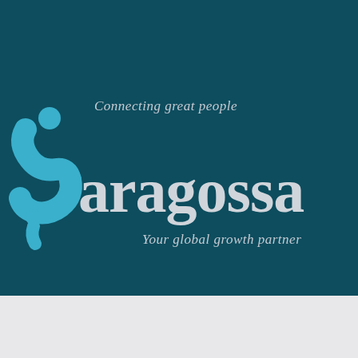[Figure (logo): Saragossa company logo on dark teal background. Features a cyan/blue stylized 'S' shape made of two human silhouette figures, with the text 'Saragossa' in large light grey serif font. Above the S is the tagline 'Connecting great people' and below is 'Your global growth partner'. Background transitions from dark teal to light grey at the bottom.]